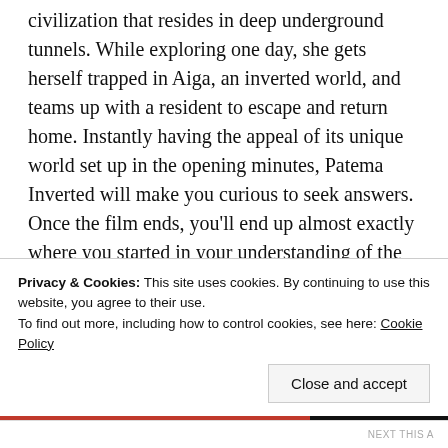civilization that resides in deep underground tunnels. While exploring one day, she gets herself trapped in Aiga, an inverted world, and teams up with a resident to escape and return home. Instantly having the appeal of its unique world set up in the opening minutes, Patema Inverted will make you curious to seek answers. Once the film ends, you'll end up almost exactly where you started in your understanding of the world. The origins are explained, and some of the aftermath on the creation of opposite gravitational pulls, but other details like the changes that might occurred after the film events, and the new discovery from our main characters are left unanswered. The effect of a device that created a shift on Earth's gravity is also vague implying it does whatever the story demands it, like shifting the weight of characters when
Privacy & Cookies: This site uses cookies. By continuing to use this website, you agree to their use.
To find out more, including how to control cookies, see here: Cookie Policy
Close and accept